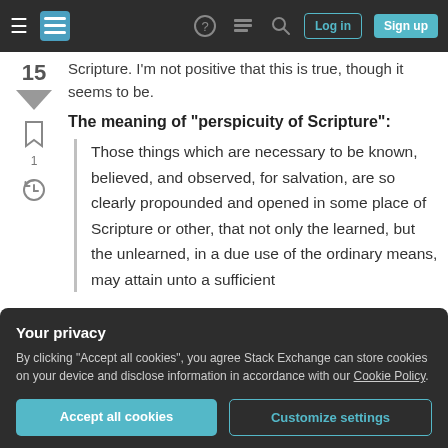Stack Exchange navigation bar with hamburger menu, logo, help, chat, search icons, Log in and Sign up buttons
Scripture. I'm not positive that this is true, though it seems to be.
The meaning of "perspicuity of Scripture":
Those things which are necessary to be known, believed, and observed, for salvation, are so clearly propounded and opened in some place of Scripture or other, that not only the learned, but the unlearned, in a due use of the ordinary means, may attain unto a sufficient
Your privacy
By clicking "Accept all cookies", you agree Stack Exchange can store cookies on your device and disclose information in accordance with our Cookie Policy.
Accept all cookies
Customize settings